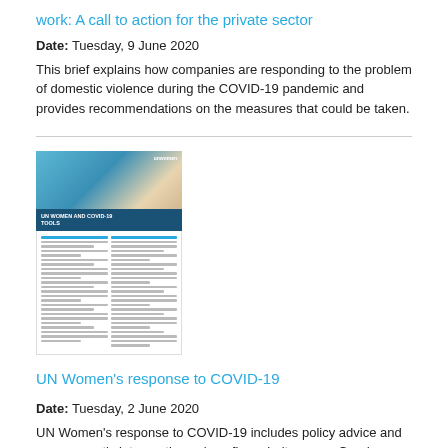work: A call to action for the private sector
Date: Tuesday, 9 June 2020
This brief explains how companies are responding to the problem of domestic violence during the COVID-19 pandemic and provides recommendations on the measures that could be taken.
[Figure (photo): Thumbnail image of a UN Women document about COVID-19 response, showing a blue cover with a photo and the UN Women logo, followed by a two-column document layout below.]
UN Women's response to COVID-19
Date: Tuesday, 2 June 2020
UN Women's response to COVID-19 includes policy advice and programmatic interventions along five priority areas: Gender-based violence, including domestic violence, is mitigated and reduced; social protection and economic stimulus packages serve women and girls; people support and practice the equal sharing of the burden of care; women and girls lead and participate in COVID-19 response planning and decision-making; and data and coordination